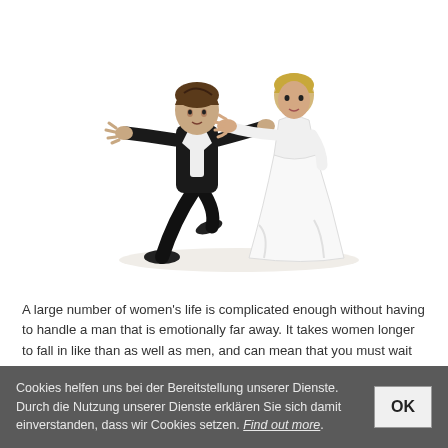[Figure (illustration): Wedding cake topper figurines: a groom in black suit running/leaning away with arms outstretched, and a bride in white dress reaching forward grabbing his jacket, on a white base.]
A large number of women’s life is complicated enough without having to handle a man that is emotionally far away. It takes women longer to fall in like than as well as men, and can mean that you must wait for a even though before you can set up a strong mental connection with her. If you are looking for a woman with whom you can share a
Cookies helfen uns bei der Bereitstellung unserer Dienste. Durch die Nutzung unserer Dienste erklären Sie sich damit einverstanden, dass wir Cookies setzen. Find out more.